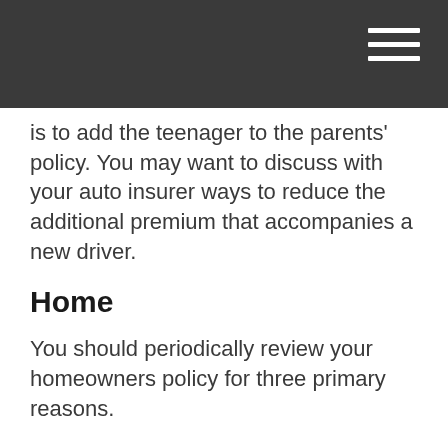is to add the teenager to the parents' policy. You may want to discuss with your auto insurer ways to reduce the additional premium that accompanies a new driver.
Home
You should periodically review your homeowners policy for three primary reasons.
A growing family generally accumulates increasing amounts of personal belongings. Think of each child's toys, clothes, electronic equipment, etc. Moreover, household income tends to rise during this time, which means that jewelry, art, and other valuables may be among